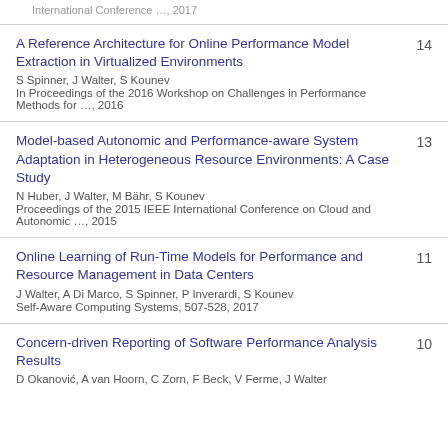International Conference …, 2017
A Reference Architecture for Online Performance Model Extraction in Virtualized Environments
S Spinner, J Walter, S Kounev
In Proceedings of the 2016 Workshop on Challenges in Performance Methods for …, 2016
14
Model-based Autonomic and Performance-aware System Adaptation in Heterogeneous Resource Environments: A Case Study
N Huber, J Walter, M Bähr, S Kounev
Proceedings of the 2015 IEEE International Conference on Cloud and Autonomic …, 2015
13
Online Learning of Run-Time Models for Performance and Resource Management in Data Centers
J Walter, A Di Marco, S Spinner, P Inverardi, S Kounev
Self-Aware Computing Systems, 507-528, 2017
11
Concern-driven Reporting of Software Performance Analysis Results
D Okanović, A van Hoorn, C Zorn, F Beck, V Ferme, J Walter
10